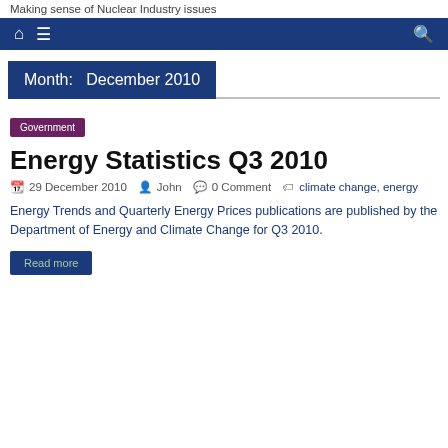Making sense of Nuclear Industry issues
Home | Menu | Search
Month: December 2010
Government
Energy Statistics Q3 2010
29 December 2010  John  0 Comment  climate change, energy
Energy Trends and Quarterly Energy Prices publications are published by the Department of Energy and Climate Change for Q3 2010.
Read more